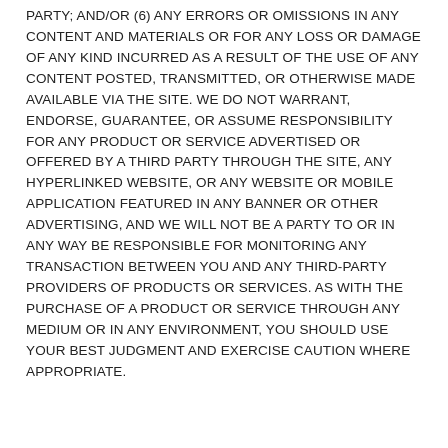PARTY; AND/OR (6) ANY ERRORS OR OMISSIONS IN ANY CONTENT AND MATERIALS OR FOR ANY LOSS OR DAMAGE OF ANY KIND INCURRED AS A RESULT OF THE USE OF ANY CONTENT POSTED, TRANSMITTED, OR OTHERWISE MADE AVAILABLE VIA THE SITE. WE DO NOT WARRANT, ENDORSE, GUARANTEE, OR ASSUME RESPONSIBILITY FOR ANY PRODUCT OR SERVICE ADVERTISED OR OFFERED BY A THIRD PARTY THROUGH THE SITE, ANY HYPERLINKED WEBSITE, OR ANY WEBSITE OR MOBILE APPLICATION FEATURED IN ANY BANNER OR OTHER ADVERTISING, AND WE WILL NOT BE A PARTY TO OR IN ANY WAY BE RESPONSIBLE FOR MONITORING ANY TRANSACTION BETWEEN YOU AND ANY THIRD-PARTY PROVIDERS OF PRODUCTS OR SERVICES. AS WITH THE PURCHASE OF A PRODUCT OR SERVICE THROUGH ANY MEDIUM OR IN ANY ENVIRONMENT, YOU SHOULD USE YOUR BEST JUDGMENT AND EXERCISE CAUTION WHERE APPROPRIATE.